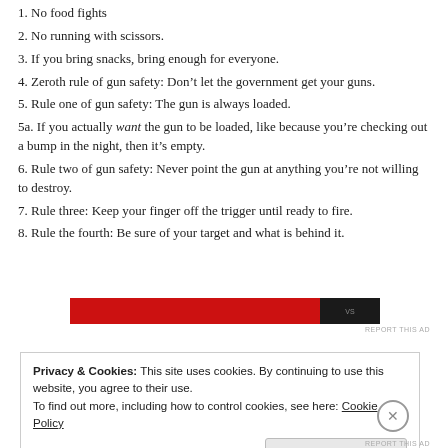1. No food fights
2. No running with scissors.
3. If you bring snacks, bring enough for everyone.
4. Zeroth rule of gun safety: Don’t let the government get your guns.
5. Rule one of gun safety: The gun is always loaded.
5a. If you actually want the gun to be loaded, like because you’re checking out a bump in the night, then it’s empty.
6. Rule two of gun safety: Never point the gun at anything you’re not willing to destroy.
7. Rule three: Keep your finger off the trigger until ready to fire.
8. Rule the fourth: Be sure of your target and what is behind it.
[Figure (other): Red advertisement banner with dark section on right]
REPORT THIS AD
Privacy & Cookies: This site uses cookies. By continuing to use this website, you agree to their use. To find out more, including how to control cookies, see here: Cookie Policy
Close and accept